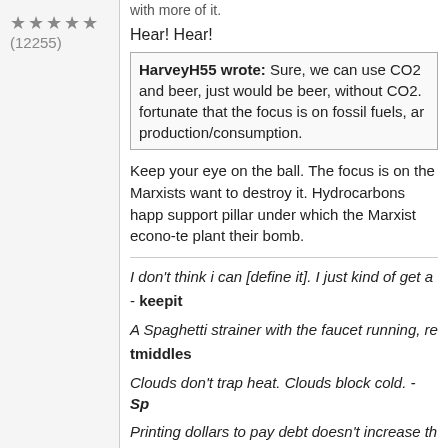★★★★★ (12255)
with more of it.
Hear! Hear!
HarveyH55 wrote: Sure, we can use CO2 and beer, just would be beer, without CO2. fortunate that the focus is on fossil fuels, ar production/consumption.
Keep your eye on the ball. The focus is on the Marxists want to destroy it. Hydrocarbons happ support pillar under which the Marxist econo-te plant their bomb.
I don't think i can [define it]. I just kind of get a - keepit
A Spaghetti strainer with the faucet running, re tmiddles
Clouds don't trap heat. Clouds block cold. - Sp
Printing dollars to pay debt doesn't increase th - keepit
If Venus were a black body it would have a mu